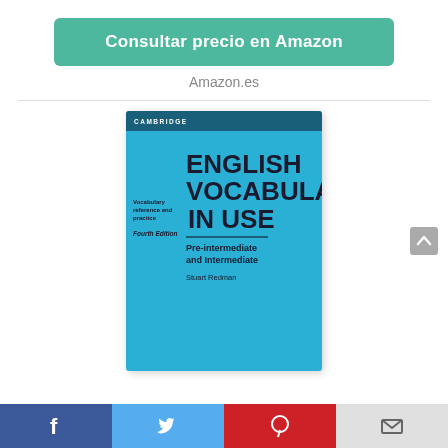Consultar precio en Amazon
Amazon.es
[Figure (photo): Book cover of English Vocabulary in Use, Fourth Edition, Pre-intermediate and Intermediate by Stuart Redman, Cambridge University Press. Blue cover with large dark text.]
Social sharing bar with Facebook, Twitter, Pinterest, and email icons